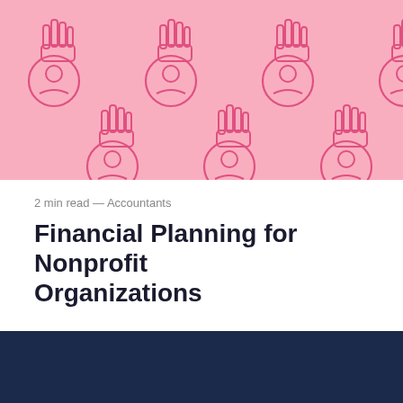[Figure (illustration): Pink background illustration with repeating pattern of stylized hands holding coins with person/user icons inside circles — a giving/charity/nonprofit themed decorative header image.]
2 min read — Accountants
Financial Planning for Nonprofit Organizations